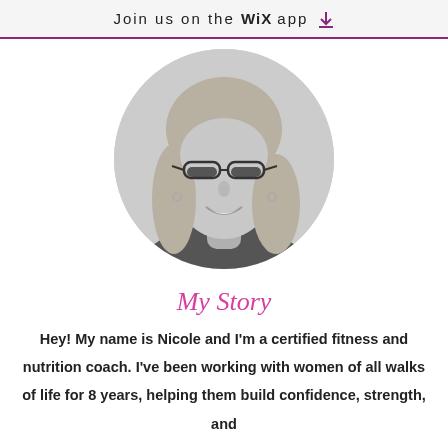Join us on the WiX app ⬇
[Figure (photo): Black and white circular portrait photo of a smiling woman with glasses and wavy blonde hair]
My Story
Hey! My name is Nicole and I'm a certified fitness and nutrition coach. I've been working with women of all walks of life for 8 years, helping them build confidence, strength, and